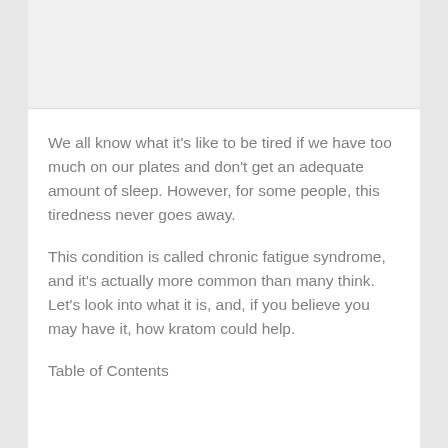[Figure (photo): Image placeholder at top of article page, light gray background]
We all know what it's like to be tired if we have too much on our plates and don't get an adequate amount of sleep. However, for some people, this tiredness never goes away.
This condition is called chronic fatigue syndrome, and it's actually more common than many think. Let's look into what it is, and, if you believe you may have it, how kratom could help.
Table of Contents